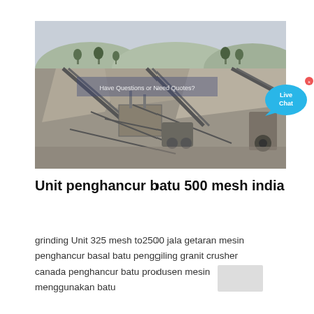[Figure (photo): Aerial/elevated view of a stone crushing facility with conveyor belts, large aggregate piles, industrial equipment, and a live chat bubble overlay in the top-right corner.]
Unit penghancur batu 500 mesh india
grinding Unit 325 mesh to2500 jala getaran mesin penghancur basal batu penggiling granit crusher canada penghancur batu produsen mesin menggunakan batu